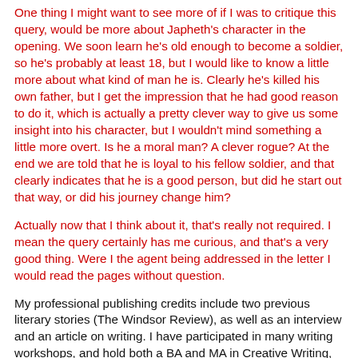One thing I might want to see more of if I was to critique this query, would be more about Japheth's character in the opening. We soon learn he's old enough to become a soldier, so he's probably at least 18, but I would like to know a little more about what kind of man he is. Clearly he's killed his own father, but I get the impression that he had good reason to do it, which is actually a pretty clever way to give us some insight into his character, but I wouldn't mind something a little more overt. Is he a moral man? A clever rogue? At the end we are told that he is loyal to his fellow soldier, and that clearly indicates that he is a good person, but did he start out that way, or did his journey change him?
Actually now that I think about it, that's really not required. I mean the query certainly has me curious, and that's a very good thing. Were I the agent being addressed in the letter I would read the pages without question.
My professional publishing credits include two previous literary stories (The Windsor Review), as well as an interview and an article on writing. I have participated in many writing workshops, and hold both a BA and MA in Creative Writing,